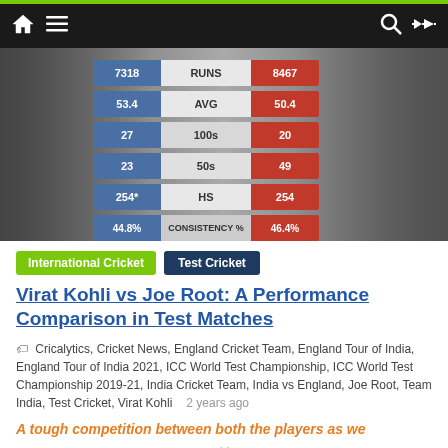Navigation bar with home, menu, search, and shuffle icons
[Figure (infographic): Cricket player comparison infographic showing Virat Kohli vs Joe Root stats: RUNS 7318 vs 8467, AVG 53.4 vs 50.4, 100s 27 vs 20, 50s 23 vs 49, HS 254* vs 254, CONSISTENCY% 44.8% vs 46.4%]
International Cricket  Test Cricket
Virat Kohli vs Joe Root: A Performance Comparison in Test Matches
Cricalytics, Cricket News, England Cricket Team, England Tour of India, England Tour of India 2021, ICC World Test Championship, ICC World Test Championship 2019-21, India Cricket Team, India vs England, Joe Root, Team India, Test Cricket, Virat Kohli  2 years ago
A tough competition between both the players as we